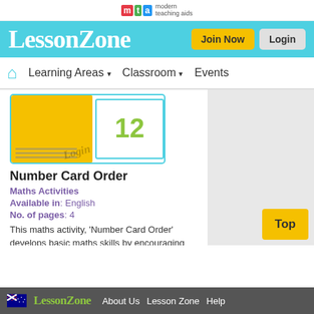mta modern teaching aids
LessonZone
Learning Areas ▾  Classroom ▾  Events
[Figure (illustration): Number card activity image showing a yellow sticky note with lines and a 'Login' watermark, next to a card displaying the number 12 in green]
Number Card Order
Maths Activities
Available in: English
No. of pages: 4
This maths activity, 'Number Card Order' develops basic maths skills by encouraging students to practise counting forwards and backwards and to recognise odd and even numbers in a sequencing game played as a
About Us   Lesson Zone   Help